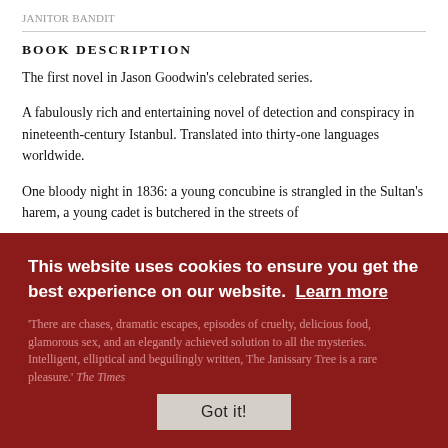JANITOR BANDIT
BOOK DESCRIPTION
The first novel in Jason Goodwin's celebrated series.
A fabulously rich and entertaining novel of detection and conspiracy in nineteenth-century Istanbul. Translated into thirty-one languages worldwide.
One bloody night in 1836: a young concubine is strangled in the Sultan's harem, a young cadet is butchered in the streets of Istanbul. Yashim the eunuch has just ten days to uncover a plot — an age-even killing — that would bring the Ottoman Empire to its knees.
'There are chases, dramatic escapes, episodes of cruelty, delicious food, glamorous sex, and an elegantly achieved solution to all the mysteries. Intelligent, elliptical and beguilingly written, The Janissary Tree is a rare pleasure.' The Times
This website uses cookies to ensure you get the best experience on our website. Learn more
Got it!